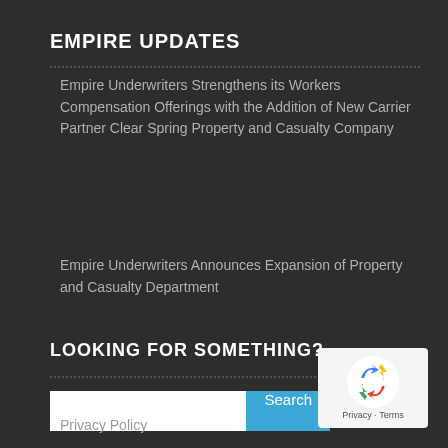EMPIRE UPDATES
Empire Underwriters Strengthens its Workers Compensation Offerings with the Addition of New Carrier Partner Clear Spring Property and Casualty Company
Empire Underwriters Announces Expansion of Property and Casualty Department
LOOKING FOR SOMETHING?
Search
Privacy Policy
[Figure (logo): reCAPTCHA badge showing recycling-arrow logo with Privacy and Terms text]